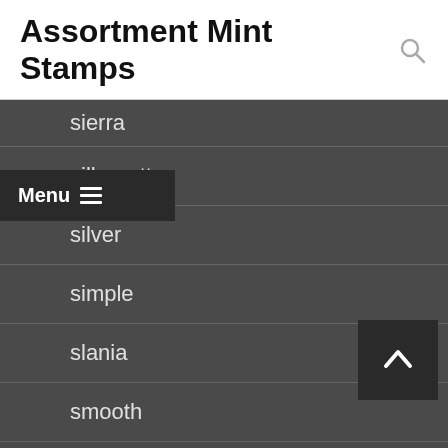Assortment Mint Stamps
sierra
silhouette
silver
simple
slania
smooth
sneak
somaliland
somililand
sorting